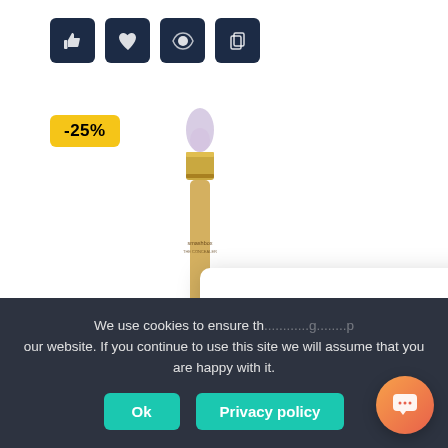[Figure (screenshot): Four dark navy icon buttons in a row at the top: thumbs up, heart, globe/eye, and copy/clipboard icons]
-25%
[Figure (photo): Smashbox concealer or gloss product, a gold-barreled pen-style cosmetic with a brush tip, standing vertically]
Clearpion
Got any questions? I'm happy to help.
We use cookies to ensure th... g... p... our website. If you continue to use this site we will assume that you are happy with it.
Ok
Privacy policy
[Figure (other): Orange-red gradient circular chat support FAB button with chat bubble icon]